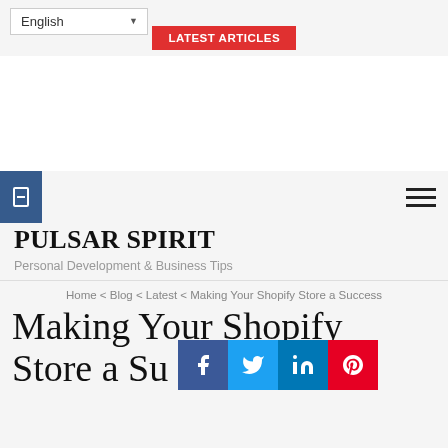English | LATEST ARTICLES
[Figure (screenshot): White advertisement/banner area placeholder]
[Figure (other): Hamburger menu icon (three horizontal lines) and blue sidebar bookmark icon]
PULSAR SPIRIT
Personal Development & Business Tips
Home < Blog < Latest < Making Your Shopify Store a Success
Making Your Shopify Store a Success
[Figure (other): Social share icons bar: Facebook, Twitter, LinkedIn, Pinterest]